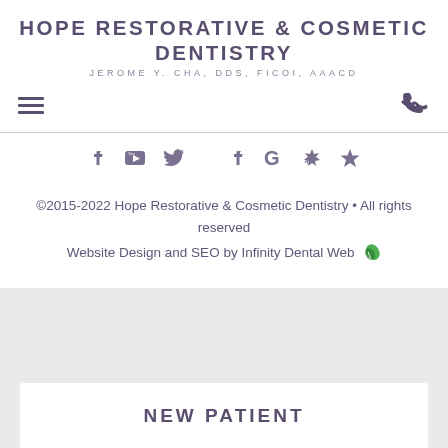HOPE RESTORATIVE & COSMETIC DENTISTRY
JEROME Y. CHA, DDS, FICOI, AAACD
[Figure (infographic): Social media icons row: Facebook, YouTube, Twitter, Facebook, Google, Yelp, Star]
©2015-2022 Hope Restorative & Cosmetic Dentistry • All rights reserved
Website Design and SEO by Infinity Dental Web
NEW PATIENT